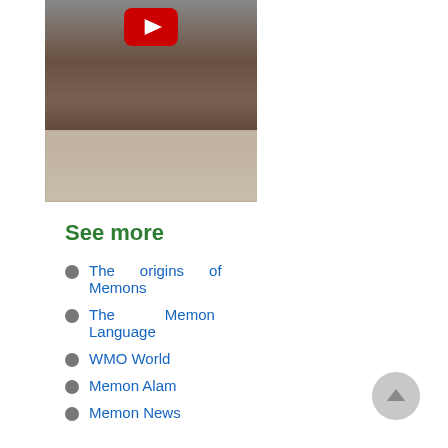[Figure (screenshot): A YouTube video thumbnail showing people sitting around a table with documents, with a red YouTube play button visible at the top center of the image.]
See more
The origins of Memons
The Memon Language
WMO World
Memon Alam
Memon News